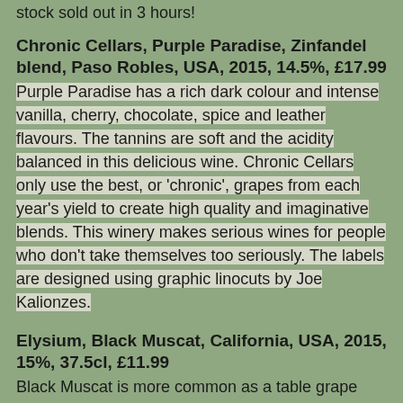stock sold out in 3 hours!
Chronic Cellars, Purple Paradise, Zinfandel blend, Paso Robles, USA, 2015, 14.5%, £17.99
Purple Paradise has a rich dark colour and intense vanilla, cherry, chocolate, spice and leather flavours. The tannins are soft and the acidity balanced in this delicious wine. Chronic Cellars only use the best, or 'chronic', grapes from each year's yield to create high quality and imaginative blends. This winery makes serious wines for people who don't take themselves too seriously. The labels are designed using graphic linocuts by Joe Kalionzes.
Elysium, Black Muscat, California, USA, 2015, 15%, 37.5cl, £11.99
Black Muscat is more common as a table grape than as a wine varietal and has a blue-black skin. It is also known as Muscat of Hamburg and makes an unusual dessert wine. This excellent wine is made by Andrew Quady who specialises in dessert wines. It is deep red in colour, with rose and blackcurrant aromas, and is intense with black cherry and ripe fig on the palate.